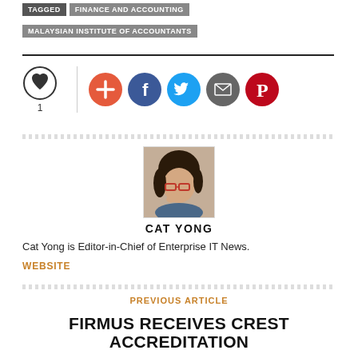TAGGED   FINANCE AND ACCOUNTING   MALAYSIAN INSTITUTE OF ACCOUNTANTS
[Figure (infographic): Social sharing row with a heart/like icon showing count of 1, a vertical divider, and five colored social media icon circles (orange plus, blue facebook, blue twitter, gray email, dark red pinterest).]
[Figure (photo): Headshot photo of Cat Yong, a woman with dark hair and red-framed glasses, resting her chin on her hand.]
CAT YONG
Cat Yong is Editor-in-Chief of Enterprise IT News.
WEBSITE
PREVIOUS ARTICLE
FIRMUS RECEIVES CREST ACCREDITATION